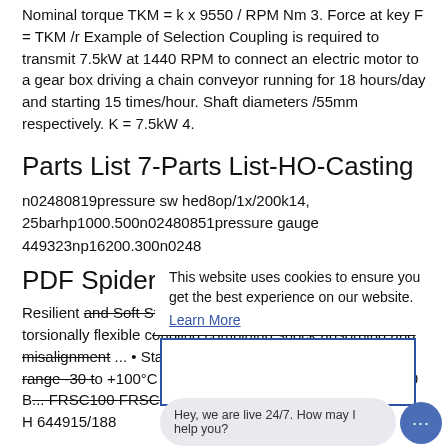Nominal torque TKM = k x 9550 / RPM Nm 3. Force at key F = TKM /r Example of Selection Coupling is required to transmit 7.5kW at 1440 RPM to connect an electric motor to a gear box driving a chain conveyor running for 18 hours/day and starting 15 times/hour. Shaft diameters /55mm respectively. K = 7.5kW 4.
Parts List 7-Parts List-HO-Casting
n02480819pressure sw hed8op/1x/200k14, 25barhp1000.500n02480851pressure gauge 449323np16200.300n0248
PDF Spiderflex
Resilient and Soft Start Couplings A medium power torsionally flexible coupling combining shock absorbing and misalignment ... • Standard element shore hardness A90 Temp range -30 to +100°C • FRAS element El... 644915/2 RSC150 B... FRSC100 FRSC100/17 RSC H 644915/188